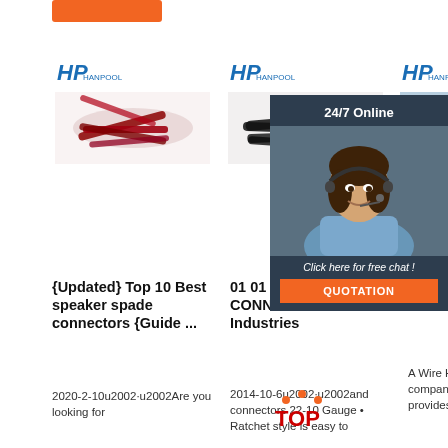[Figure (illustration): Orange rectangular button at top left]
[Figure (logo): HP Hanpool logo - blue stylized text, column 1]
[Figure (photo): Red/crimson spade wire connectors scattered]
[Figure (logo): HP Hanpool logo - blue stylized text, column 2]
[Figure (photo): Black wire connectors/tubing bundled]
[Figure (logo): HP Hanpool logo - blue stylized text, column 3]
[Figure (photo): Blue/teal wire harness product]
[Figure (infographic): 24/7 Online chat overlay panel with woman wearing headset, dark navy background, 'Click here for free chat!' text, orange QUOTATION button]
{Updated} Top 10 Best speaker spade connectors {Guide ...
2020-2-10u2002·u2002Are you looking for
01 01 TERMINALS AND CONNECTORS - Grote Industries
2014-10-6u2002·u2002and connectors 22-10 Gauge • Ratchet style is easy to
Wire Harness Manufacturer's company or business that provides services
A Wire Harness Manufacturer's company or business that provides services
[Figure (logo): TOP badge with orange dots arc above, red TOP text]